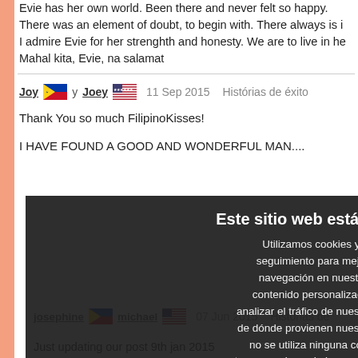Evie has her own world. Been there and never felt so happy. There was an element of doubt, to begin with. There always is in I admire Evie for her strenghth and honesty. We are to live in he Mahal kita, Evie, na salamat
Joy y Joey   11 Sep 2015   Histórias de éxito
Thank You so much FilipinoKisses!

I HAVE FOUND A GOOD AND WONDERFUL MAN....
Este sitio web está utilizando cookies.

Utilizamos cookies y otras tecnologías de seguimiento para mejorar su experiencia de navegación en nuestro sitio web, mostrarle contenido personalizado y anuncios dirigidos, analizar el tráfico de nuestro sitio web y comprender de dónde provienen nuestros visitantes. Si rechaza, no se utiliza ninguna cookie de seguimiento de terceros, sino solo la propia cookie del sitio web para permitir el inicio de sesión de los miembros.
Aceptar   Disminución   Aprende más
josephine  michael   07 Jun 2015   Histórias de
Just updating our post 9th jan 2015